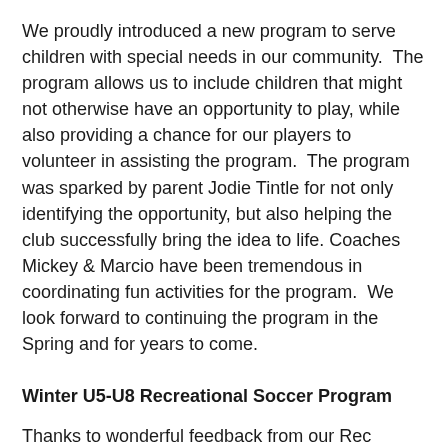We proudly introduced a new program to serve children with special needs in our community.  The program allows us to include children that might not otherwise have an opportunity to play, while also providing a chance for our players to volunteer in assisting the program.  The program was sparked by parent Jodie Tintle for not only identifying the opportunity, but also helping the club successfully bring the idea to life. Coaches Mickey & Marcio have been tremendous in coordinating fun activities for the program.  We look forward to continuing the program in the Spring and for years to come.
Winter U5-U8 Recreational Soccer Program
Thanks to wonderful feedback from our Rec parents, we are excited to offer a Winter program this year!  The program will begin on Nov 18 and end on Feb 8 with breaks during holidays. Players will practice twice per week with games on